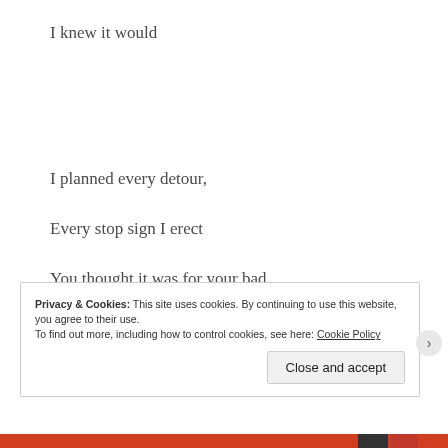I knew it would
I planned every detour,
Every stop sign I erect
You thought it was for your bad
but I knew it would be
Privacy & Cookies: This site uses cookies. By continuing to use this website, you agree to their use.
To find out more, including how to control cookies, see here: Cookie Policy
Close and accept